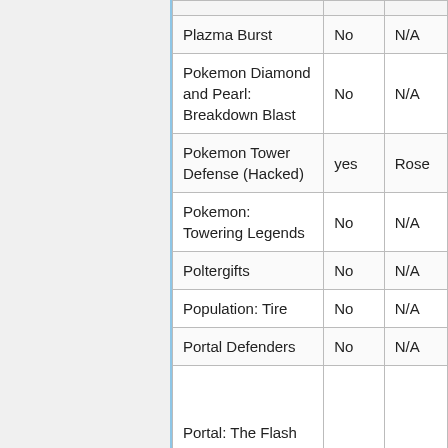| Plazma Burst | No | N/A |
| Pokemon Diamond and Pearl: Breakdown Blast | No | N/A |
| Pokemon Tower Defense (Hacked) | yes | Rose |
| Pokemon: Towering Legends | No | N/A |
| Poltergifts | No | N/A |
| Population: Tire | No | N/A |
| Portal Defenders | No | N/A |
| Portal: The Flash Version | Yes | Zhang |